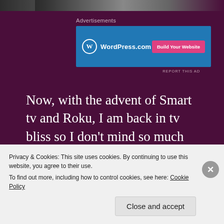[Figure (photo): Top partial image of a person, dark tones with purple background]
Advertisements
[Figure (other): WordPress.com advertisement banner with blue background, WordPress logo and 'Build Your Website' pink button]
REPORT THIS AD
Now, with the advent of Smart tv and Roku, I am back in tv bliss so I don't mind so much spending time in front of the set in the evenings. I can revisit old friends and check
Privacy & Cookies: This site uses cookies. By continuing to use this website, you agree to their use.
To find out more, including how to control cookies, see here: Cookie Policy
Close and accept